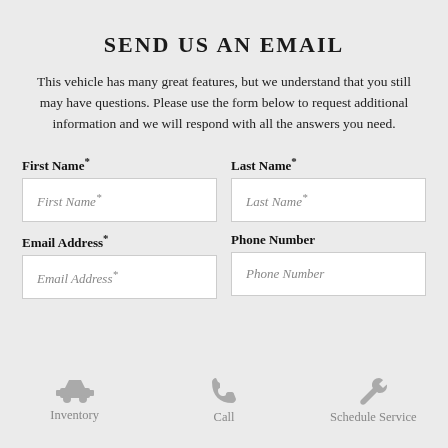SEND US AN EMAIL
This vehicle has many great features, but we understand that you still may have questions. Please use the form below to request additional information and we will respond with all the answers you need.
First Name*
Last Name*
First Name*
Last Name*
Email Address*
Phone Number
Email Address*
Phone Number
Inventory
Call
Schedule Service